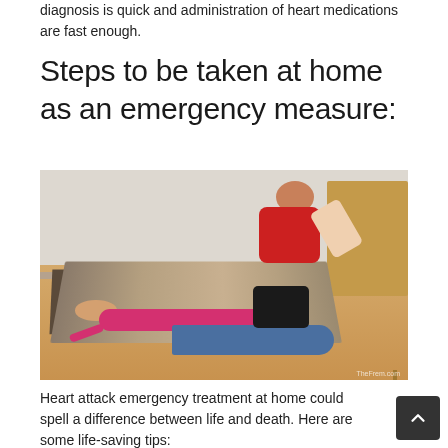diagnosis is quick and administration of heart medications are fast enough.
Steps to be taken at home as an emergency measure:
[Figure (photo): A woman in a red shirt kneeling on the floor calling emergency services on her phone, while another woman in a pink shirt lies unconscious on the floor of a living room with a rug and wooden table visible.]
Heart attack emergency treatment at home could spell a difference between life and death. Here are some life-saving tips: